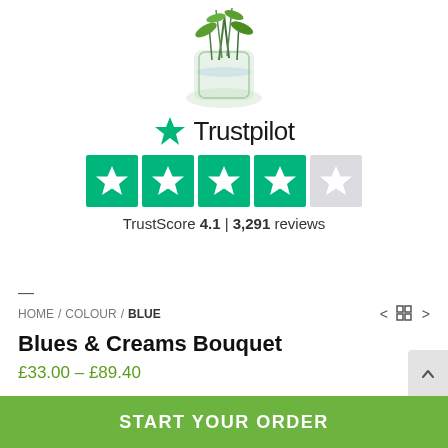[Figure (photo): Partial image of a flower bouquet in a glass vase, showing green stems and foliage, cropped at top]
[Figure (logo): Trustpilot logo with green star icon and the text Trustpilot, followed by 4 green star rating boxes and 1 grey star rating box, with TrustScore 4.1 | 3,291 reviews]
—
HOME / COLOUR / BLUE
Blues & Creams Bouquet
£33.00 – £89.40
A great bouquet for welcoming home a new baby boy. This combination includes classic whites with deep blues
START YOUR ORDER